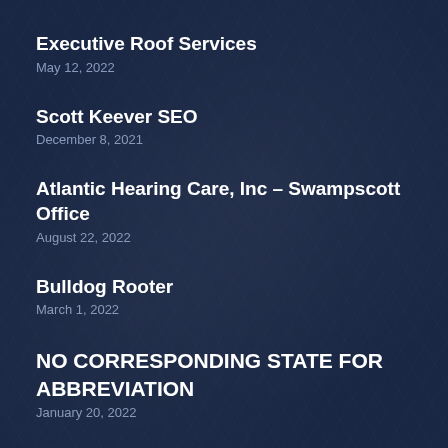Executive Roof Services
May 12, 2022
Scott Keever SEO
December 8, 2021
Atlantic Hearing Care, Inc – Swampscott Office
August 22, 2022
Bulldog Rooter
March 1, 2022
NO CORRESPONDING STATE FOR ABBREVIATION
January 20, 2022